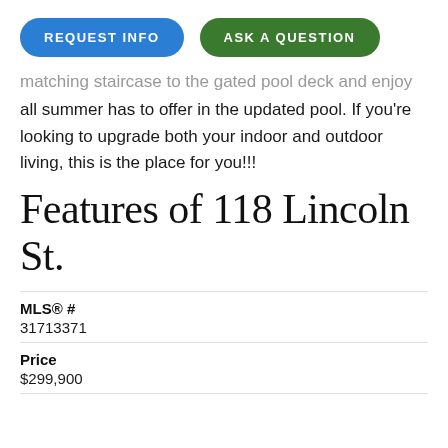[Figure (other): Two action buttons: REQUEST INFO (blue pill) and ASK A QUESTION (green pill)]
matching staircase to the gated pool deck and enjoy all summer has to offer in the updated pool. If you're looking to upgrade both your indoor and outdoor living, this is the place for you!!!
Features of 118 Lincoln St.
| Field | Value |
| --- | --- |
| MLS® # | 31713371 |
| Price | $299,900 |